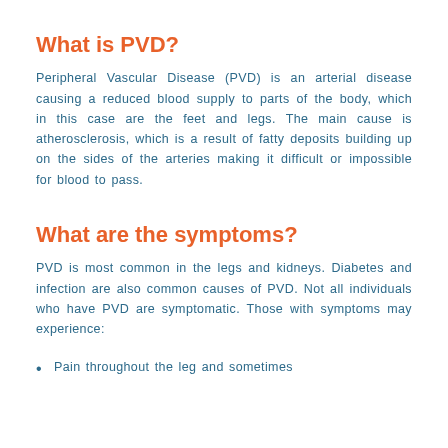What is PVD?
Peripheral Vascular Disease (PVD) is an arterial disease causing a reduced blood supply to parts of the body, which in this case are the feet and legs. The main cause is atherosclerosis, which is a result of fatty deposits building up on the sides of the arteries making it difficult or impossible for blood to pass.
What are the symptoms?
PVD is most common in the legs and kidneys. Diabetes and infection are also common causes of PVD. Not all individuals who have PVD are symptomatic. Those with symptoms may experience:
Pain throughout the leg and sometimes